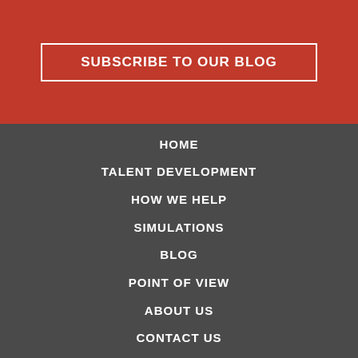SUBSCRIBE TO OUR BLOG
HOME
TALENT DEVELOPMENT
HOW WE HELP
SIMULATIONS
BLOG
POINT OF VIEW
ABOUT US
CONTACT US